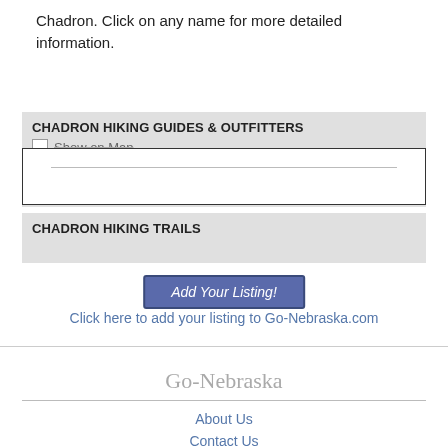Chadron. Click on any name for more detailed information.
CHADRON HIKING GUIDES & OUTFITTERS
Show on Map
CHADRON HIKING TRAILS
Add Your Listing!
Click here to add your listing to Go-Nebraska.com
Go-Nebraska
About Us
Contact Us